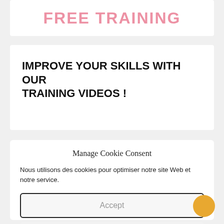[Figure (illustration): Partial banner with red text partially visible at top, white background card]
IMPROVE YOUR SKILLS WITH OUR TRAINING VIDEOS !
Manage Cookie Consent
Nous utilisons des cookies pour optimiser notre site Web et notre service.
Accept
Dismiss
Preferences